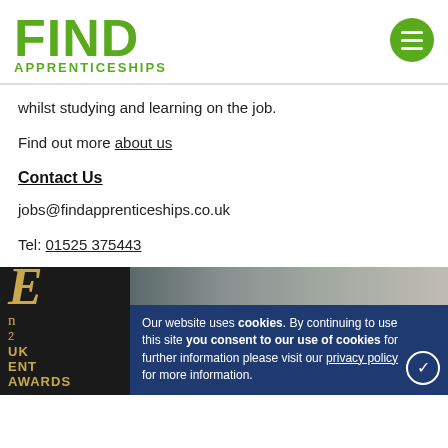FIND APPRENTICESHIPS
whilst studying and learning on the job.
Find out more about us
Contact Us
jobs@findapprenticeships.co.uk
Tel: 01525 375443
[Figure (photo): SME UK Enterprise Awards logo on dark background with photo of a woman in a workshop/studio setting, overlaid with a cookie consent banner reading: Our website uses cookies. By continuing to use this site you consent to our use of cookies for further information please visit our privacy policy for more information.]